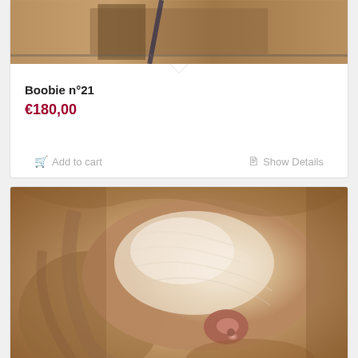[Figure (photo): Cropped top portion of a product photo showing a wooden/painted artwork piece with dark background]
Boobie n°21
€180,00
Add to cart
Show Details
[Figure (photo): Oil painting artwork showing a close-up figurative painting with warm earthy tones of peach, cream, and brown]